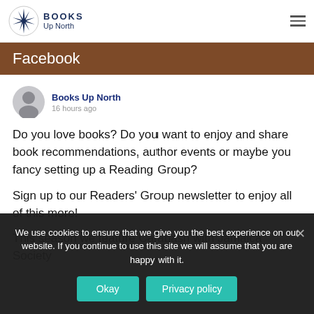Books Up North
Facebook
Books Up North
16 hours ago
Do you love books? Do you want to enjoy and share book recommendations, author events or maybe you fancy setting up a Reading Group?

Sign up to our Readers' Group newsletter to enjoy all of this more!

This season we feature Calabash with Jamaica Society
We use cookies to ensure that we give you the best experience on our website. If you continue to use this site we will assume that you are happy with it.
Okay  Privacy policy